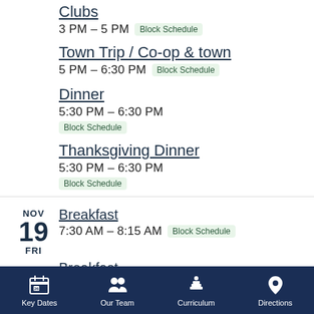Clubs
3 PM – 5 PM  Block Schedule
Town Trip / Co-op & town
5 PM – 6:30 PM  Block Schedule
Dinner
5:30 PM – 6:30 PM  Block Schedule
Thanksgiving Dinner
5:30 PM – 6:30 PM  Block Schedule
NOV 19 FRI  Breakfast
7:30 AM – 8:15 AM  Block Schedule
NOV 19 FRI  Breakfast
7:30 AM – 8:15 AM  Block Schedule
Key Dates  Our Team  Curriculum  Directions